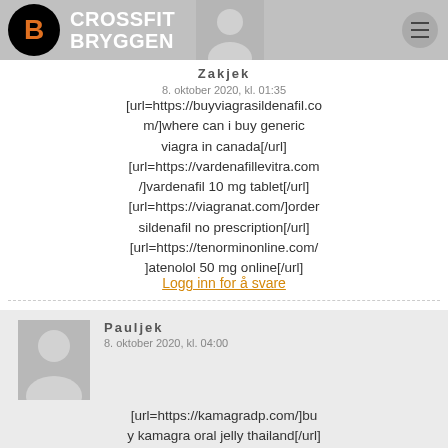CROSSFIT BRYGGEN
Zakjek
8. oktober 2020, kl. 01:35
[url=https://buyviagrasildenafil.com/]where can i buy generic viagra in canada[/url] [url=https://vardenafillevitra.com/]vardenafil 10 mg tablet[/url] [url=https://viagranat.com/]order sildenafil no prescription[/url] [url=https://tenorminonline.com/]atenolol 50 mg online[/url]
Logg inn for å svare
Pauljek
8. oktober 2020, kl. 04:00
[url=https://kamagradp.com/]buy kamagra oral jelly thailand[/url] [url=https://viagrayup.com/]how